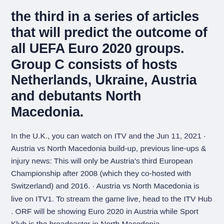the third in a series of articles that will predict the outcome of all UEFA Euro 2020 groups. Group C consists of hosts Netherlands, Ukraine, Austria and debutants North Macedonia.
In the U.K., you can watch on ITV and the Jun 11, 2021 · Austria vs North Macedonia build-up, previous line-ups & injury news: This will only be Austria's third European Championship after 2008 (which they co-hosted with Switzerland) and 2016. · Austria vs North Macedonia is live on ITV1. To stream the game live, head to the ITV Hub . ORF will be showing Euro 2020 in Austria while Sport Klub is the broadcaster in North Macedonia.